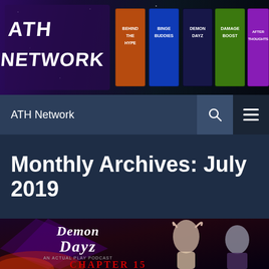[Figure (illustration): ATH Network banner header with purple/dark starfield background showing logo 'ATH NETWORK' on left and show logos: Behind The Hype, Binge Buddies, Demon Dayz, Damage Boost, After Thoughts]
ATH Network
Monthly Archives: July 2019
[Figure (illustration): Demon Dayz podcast artwork showing two illustrated characters (a demon with horns and a man in suit) with text 'Demon Dayz An Actual Play Podcast Chapter 15']